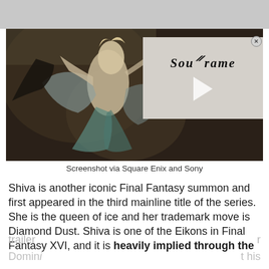[Figure (screenshot): Screenshot of Shiva character from Final Fantasy XVI with Soulframe overlay logo and play button]
Screenshot via Square Enix and Sony
Shiva is another iconic Final Fantasy summon and first appeared in the third mainline title of the series. She is the queen of ice and her trademark move is Diamond Dust. Shiva is one of the Eikons in Final Fantasy XVI, and it is heavily implied through the trailer
Dominic   this